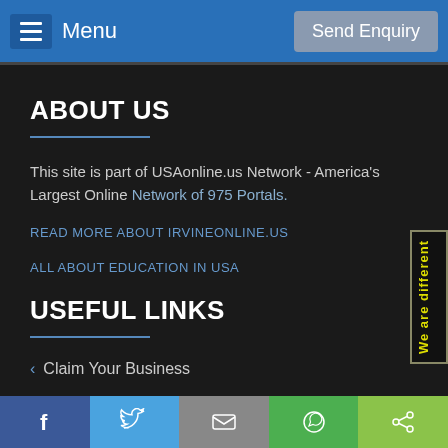Menu | Send Enquiry
ABOUT US
This site is part of USAonline.us Network - America's Largest Online Network of 975 Portals.
READ MORE ABOUT IRVINEONLINE.US
ALL ABOUT EDUCATION IN USA
USEFUL LINKS
< Claim Your Business
Facebook | Twitter | Email | WhatsApp | Share